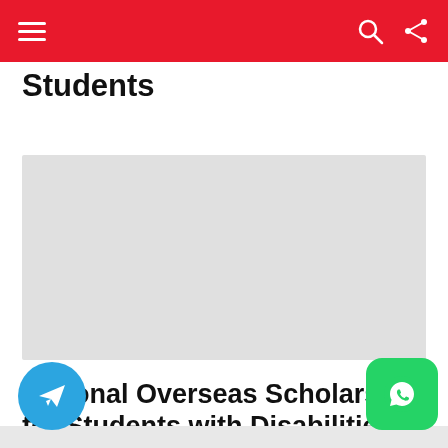Navigation bar with hamburger menu, search and share icons
Students
[Figure (photo): Gray placeholder image area for an article photo]
National Overseas Scholarship for Students with Disabilities